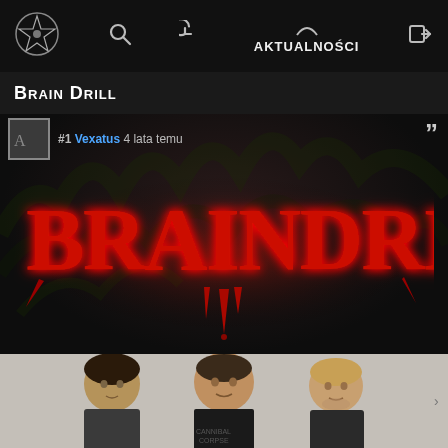AKTUALNOŚCI
Brain Drill
#1 Vexatus 4 lata temu
[Figure (logo): Brain Drill band logo in red gothic/metal lettering on dark background with decorative spikes and dripping blood effect]
[Figure (photo): Three band members of Brain Drill standing against a light grey wall, the center person wearing a Cannibal Corpse shirt]